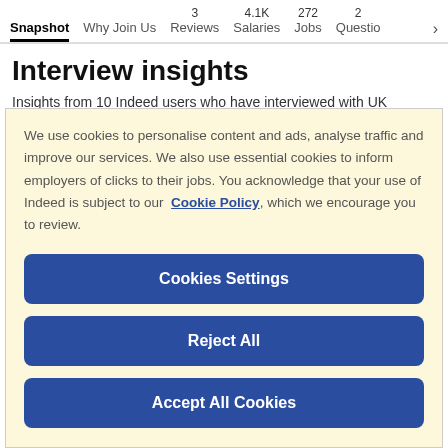Snapshot | Why Join Us | 3 Reviews | 4.1K Salaries | 272 Jobs | 2 Questions
Interview insights
Insights from 10 Indeed users who have interviewed with UK
We use cookies to personalise content and ads, analyse traffic and improve our services. We also use essential cookies to inform employers of clicks to their jobs. You acknowledge that your use of Indeed is subject to our Cookie Policy, which we encourage you to review.
Cookies Settings
Reject All
Accept All Cookies